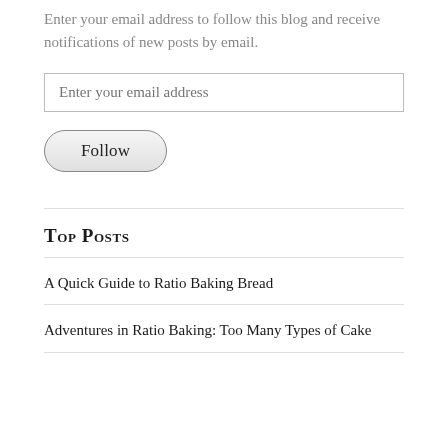Enter your email address to follow this blog and receive notifications of new posts by email.
Enter your email address
Follow
Top Posts
A Quick Guide to Ratio Baking Bread
Adventures in Ratio Baking: Too Many Types of Cake